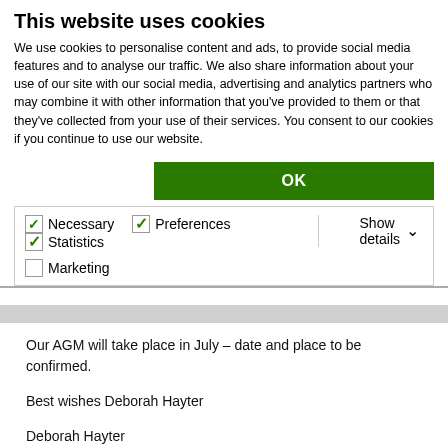This website uses cookies
We use cookies to personalise content and ads, to provide social media features and to analyse our traffic. We also share information about your use of our site with our social media, advertising and analytics partners who may combine it with other information that you've provided to them or that they've collected from your use of their services. You consent to our cookies if you continue to use our website.
OK
Necessary  Preferences  Statistics  Marketing  Show details
Our AGM will take place in July – date and place to be confirmed.
Best wishes Deborah Hayter
Deborah Hayter
[Figure (logo): Facebook and Twitter social media icons]